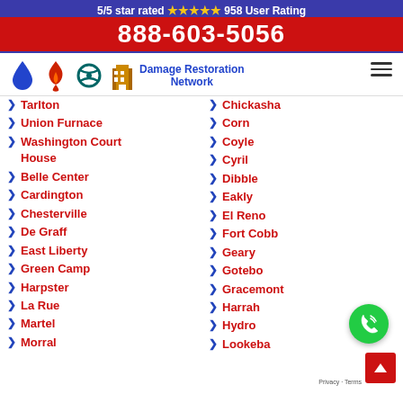5/5 star rated ★★★★★ 958 User Rating
888-603-5056
[Figure (logo): Damage Restoration Network logo with water drop, flame, hurricane, and building icons]
Tarlton
Union Furnace
Washington Court House
Belle Center
Cardington
Chesterville
De Graff
East Liberty
Green Camp
Harpster
La Rue
Martel
Morral
Chickasha
Corn
Coyle
Cyril
Dibble
Eakly
El Reno
Fort Cobb
Geary
Gotebo
Gracemont
Harrah
Hydro
Lookeba